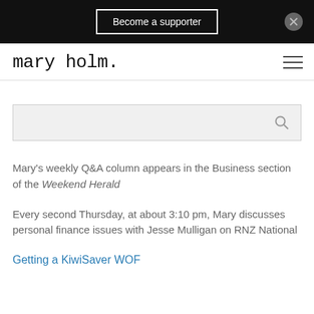Become a supporter
mary holm.
[Figure (other): Search input box with magnifying glass icon]
Mary's weekly Q&A column appears in the Business section of the Weekend Herald
Every second Thursday, at about 3:10 pm, Mary discusses personal finance issues with Jesse Mulligan on RNZ National
Getting a KiwiSaver WOF